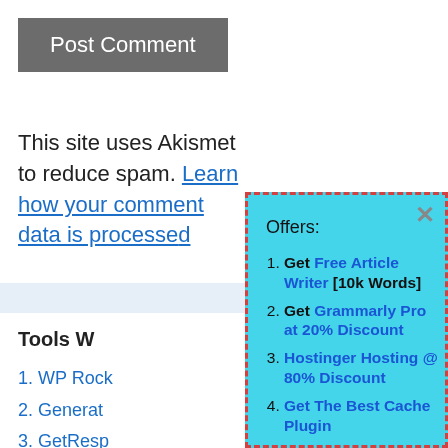Post Comment
This site uses Akismet to reduce spam. Learn how your comment data is processed
Tools W…
WP Rock…
Generat…
GetResp…
Element…
Rocket.N…
[Figure (screenshot): Popup overlay with cyan/turquoise background and red dashed border showing 'Offers:' with 4 numbered list items: 1. Get Free Article Writer [10k Words], 2. Get Grammarly Pro at 20% Discount, 3. Hostinger Hosting @ 80% Discount, 4. Get The Best Cache Plugin. Has an X close button in top right.]